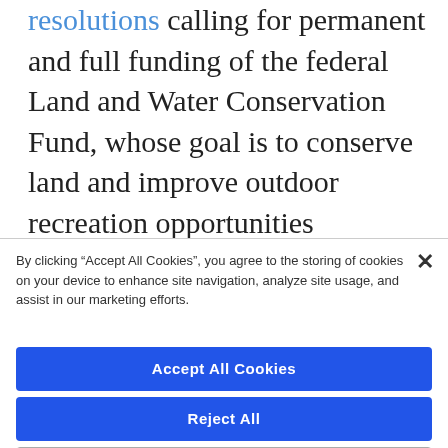resolutions calling for permanent and full funding of the federal Land and Water Conservation Fund, whose goal is to conserve land and improve outdoor recreation opportunities nationwide, and to emphasize parks in comprehensive urban policy and community development.
By clicking "Accept All Cookies", you agree to the storing of cookies on your device to enhance site navigation, analyze site usage, and assist in our marketing efforts.
Accept All Cookies
Reject All
Cookies Settings